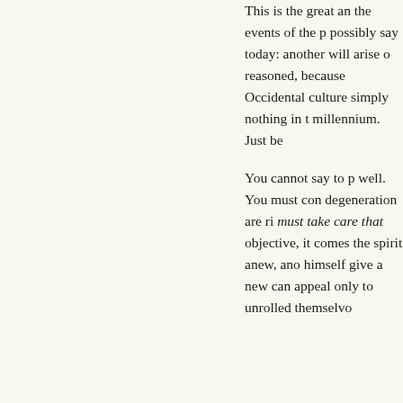This is the great an the events of the p possibly say today: another will arise o reasoned, because Occidental culture simply nothing in t millennium. Just be You cannot say to p well. You must con degeneration are ri must take care that objective, it comes the spirit anew, ano himself give a new can appeal only to unrolled themselvo